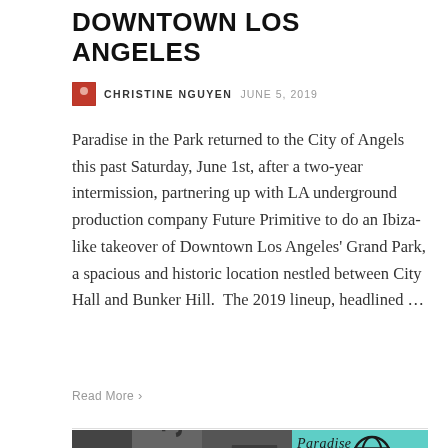DOWNTOWN LOS ANGELES
CHRISTINE NGUYEN  JUNE 5, 2019
Paradise in the Park returned to the City of Angels this past Saturday, June 1st, after a two-year intermission, partnering up with LA underground production company Future Primitive to do an Ibiza-like takeover of Downtown Los Angeles' Grand Park, a spacious and historic location nestled between City Hall and Bunker Hill.  The 2019 lineup, headlined …
Read More >
[Figure (photo): Event flyer/poster image showing text including 'IN THE PARK', 'JAMIE JONES' in black and white with teal/green accent colors. Partial text visible: 'ICE', 'DAY JU' on left edge.]